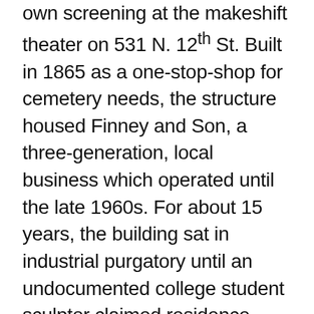own screening at the makeshift theater on 531 N. 12th St. Built in 1865 as a one-stop-shop for cemetery needs, the structure housed Finney and Son, a three-generation, local business which operated until the late 1960s. For about 15 years, the building sat in industrial purgatory until an undocumented college student sculptor claimed residence. Then in the mid-2000s, Mad Decent founder DJ Diplo transformed the dwelling into his record label's headquarters and eventually the home of annual mega concert Mad Decent Block Party. Christina Aguilera, Shakira and M.I.A. are just a few of the superstars to have recorded in the studio during the Mad Decent era. When Diplo established a national presence, the budding music producer moved out west and rented